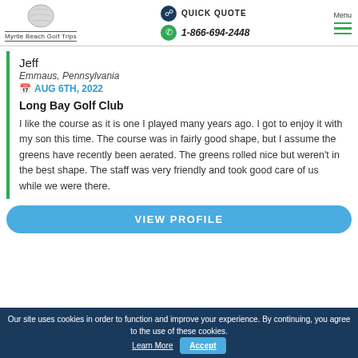Myrtle Beach Golf Trips | QUICK QUOTE | 1-866-694-2448 | Menu
Jeff
Emmaus, Pennsylvania
AUG 6TH, 2022
Long Bay Golf Club
I like the course as it is one I played many years ago. I got to enjoy it with my son this time. The course was in fairly good shape, but I assume the greens have recently been aerated. The greens rolled nice but weren't in the best shape. The staff was very friendly and took good care of us while we were there.
VIEW PROFILE
Our site uses cookies in order to function and improve your experience. By continuing, you agree to the use of these cookies. Learn More Accept